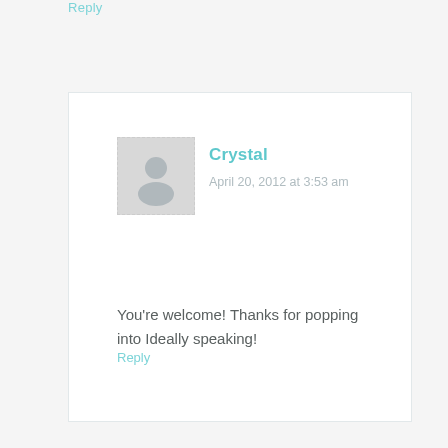Reply
[Figure (illustration): Gray placeholder avatar icon with dotted border showing a generic person silhouette]
Crystal
April 20, 2012 at 3:53 am
You’re welcome! Thanks for popping into Ideally speaking!
Reply